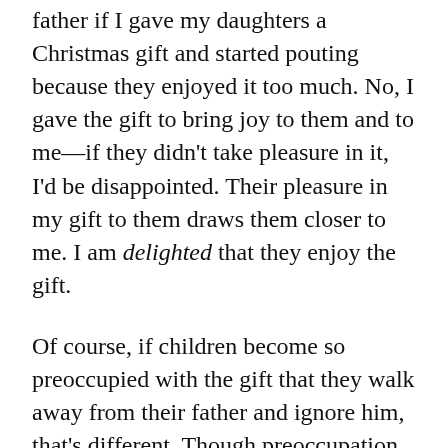father if I gave my daughters a Christmas gift and started pouting because they enjoyed it too much. No, I gave the gift to bring joy to them and to me—if they didn't take pleasure in it, I'd be disappointed. Their pleasure in my gift to them draws them closer to me. I am delighted that they enjoy the gift.
Of course, if children become so preoccupied with the gift that they walk away from their father and ignore him, that's different. Though preoccupation with a God-given gift can turn into idolatry, enjoying that same gift with a grateful heart can draw us closer to